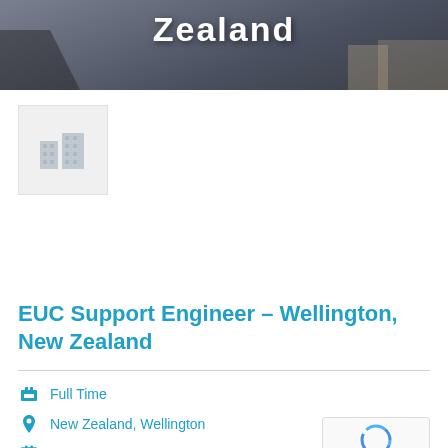[Figure (photo): Header photo showing a room with chairs and a table, with the word 'Zealand' visible in white bold text overlay]
[Figure (logo): Company placeholder logo icon showing two buildings silhouette in light gray on a light gray square background]
EUC Support Engineer – Wellington, New Zealand
Full Time
New Zealand, Wellington
Posted 7 months ago